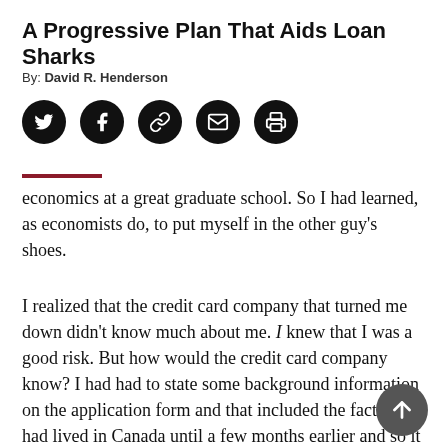A Progressive Plan That Aids Loan Sharks
By: David R. Henderson
[Figure (other): Social sharing icons: Twitter, Facebook, Link, Email, Print]
economics at a great graduate school. So I had learned, as economists do, to put myself in the other guy’s shoes.
I realized that the credit card company that turned me down didn’t know much about me. I knew that I was a good risk. But how would the credit card company know? I had had to state some background information on the application form and that included the fact that I had lived in Canada until a few months earlier and so it would probably be